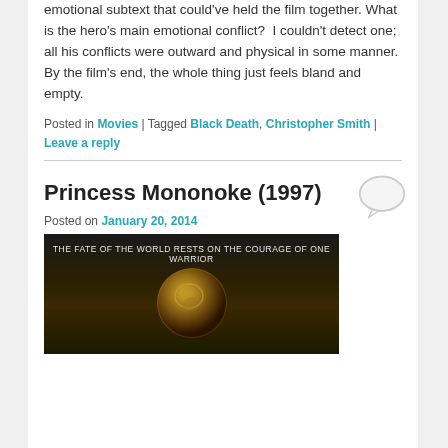emotional subtext that could've held the film together. What is the hero's main emotional conflict?  I couldn't detect one; all his conflicts were outward and physical in some manner.  By the film's end, the whole thing just feels bland and empty.
Posted in Movies | Tagged Black Death, Christopher Smith | Leave a reply
Princess Mononoke (1997)
Posted on January 20, 2014
[Figure (photo): Movie poster image for Princess Mononoke showing a dark background with text 'THE FATE OF THE WORLD RESTS ON THE COURAGE OF ONE WARRIOR' and a golden coin/medallion with an animal face design]